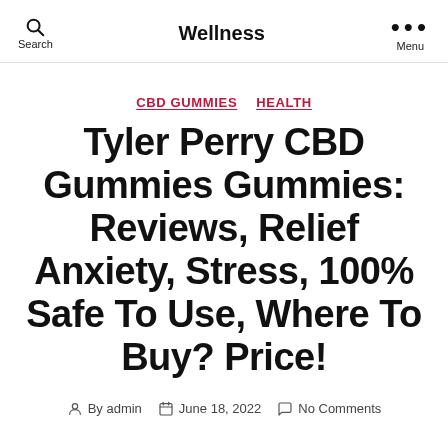Wellness
CBD GUMMIES  HEALTH
Tyler Perry CBD Gummies Gummies: Reviews, Relief Anxiety, Stress, 100% Safe To Use, Where To Buy? Price!
By admin   June 18, 2022   No Comments